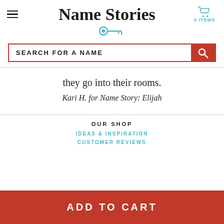Name Stories
[Figure (illustration): Teal key icon beneath site title]
[Figure (screenshot): Search bar with text SEARCH FOR A NAME and orange search button]
they go into their rooms.
Kari H. for Name Story: Elijah
OUR SHOP
IDEAS & INSPIRATION
CUSTOMER REVIEWS
ADD TO CART